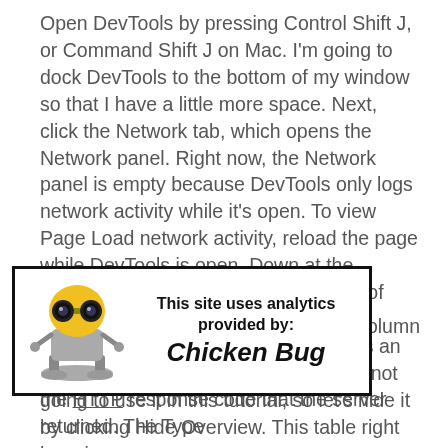Open DevTools by pressing Control Shift J, or Command Shift J on Mac. I'm going to dock DevTools to the bottom of my window so that I have a little more space. Next, click the Network tab, which opens the Network panel. Right now, the Network panel is empty because DevTools only logs network activity while it's open. To view Page Load network activity, reload the page while DevTools is open. Down at the bottom, you can see the total number of requests and the total amount of data transferred in. This chart up here gives an overview of network activity, but we're not going to use it in this tutorial, so let's hide it by clicking Hide Overview. This table right here is
[Figure (infographic): Chicken Bug analytics banner: robot mascot with yellow dome head and binocular eyes, text reads 'This site uses analytics provided by: Chicken Bug']
the HTTP response code that the server returned. The Type